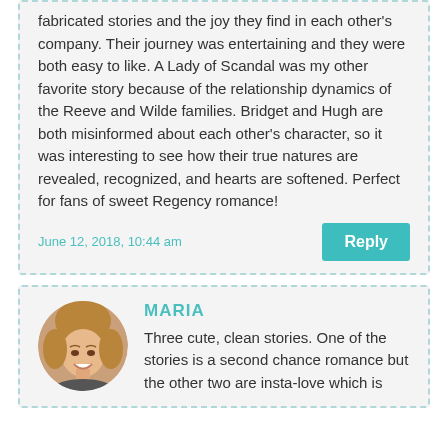fabricated stories and the joy they find in each other's company. Their journey was entertaining and they were both easy to like. A Lady of Scandal was my other favorite story because of the relationship dynamics of the Reeve and Wilde families. Bridget and Hugh are both misinformed about each other's character, so it was interesting to see how their true natures are revealed, recognized, and hearts are softened. Perfect for fans of sweet Regency romance!
June 12, 2018, 10:44 am
Reply
[Figure (photo): Circular avatar photo of a woman named Maria with blonde curly hair, smiling]
MARIA
Three cute, clean stories. One of the stories is a second chance romance but the other two are insta-love which is